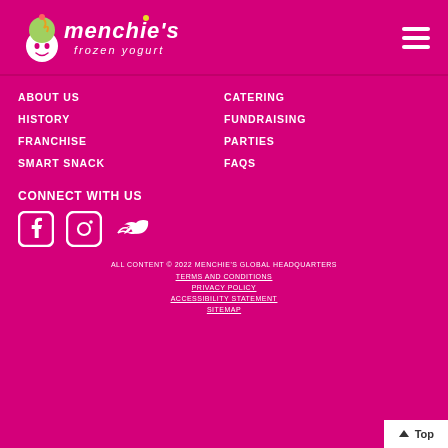[Figure (logo): Menchie's frozen yogurt logo with ice cream swirl character]
ABOUT US
CATERING
HISTORY
FUNDRAISING
FRANCHISE
PARTIES
SMART SNACK
FAQS
CONNECT WITH US
[Figure (illustration): Facebook, Instagram, and Twitter social media icons in white]
ALL CONTENT © 2022 MENCHIE'S GLOBAL HEADQUARTERS
TERMS AND CONDITIONS
PRIVACY POLICY
ACCESSIBILITY STATEMENT
SITEMAP